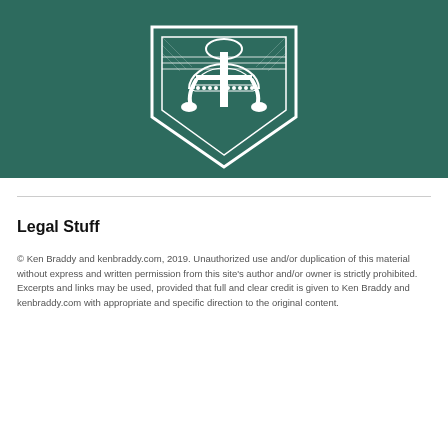[Figure (logo): White shield/anchor emblem logo on dark teal/green background]
Legal Stuff
© Ken Braddy and kenbraddy.com, 2019. Unauthorized use and/or duplication of this material without express and written permission from this site's author and/or owner is strictly prohibited. Excerpts and links may be used, provided that full and clear credit is given to Ken Braddy and kenbraddy.com with appropriate and specific direction to the original content.